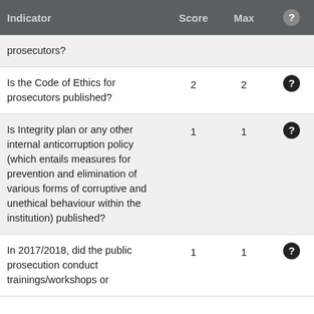| Indicator | Score | Max | ? |
| --- | --- | --- | --- |
| prosecutors? |  |  |  |
| Is the Code of Ethics for prosecutors published? | 2 | 2 | ? |
| Is Integrity plan or any other internal anticorruption policy (which entails measures for prevention and elimination of various forms of corruptive and unethical behaviour within the institution) published? | 1 | 1 | ? |
| In 2017/2018, did the public prosecution conduct trainings/workshops or | 1 | 1 | ? |